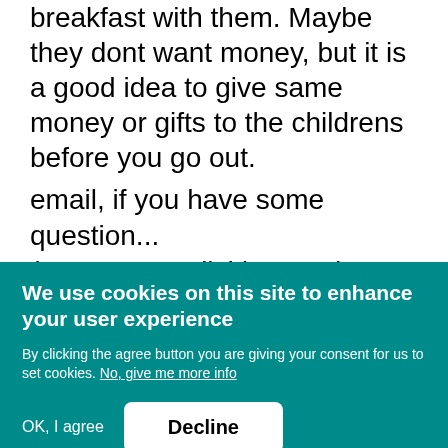breakfast with them. Maybe they dont want money, but it is a good idea to give same money or gifts to the childrens before you go out.
email, if you have some question... (sorry my english) regards, Rafael.
Top
We use cookies on this site to enhance your user experience
By clicking the agree button you are giving your consent for us to set cookies. No, give me more info
OK, I agree
Decline